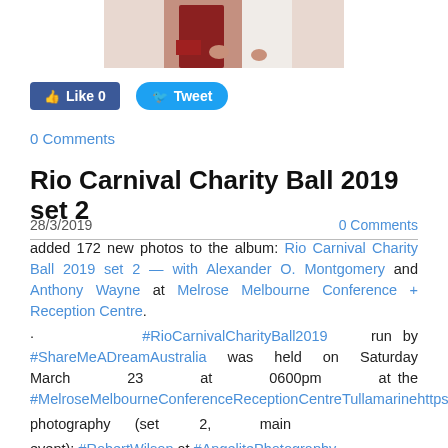[Figure (photo): Cropped photo showing lower portion of people at an event, partial view of clothing]
Like 0   Tweet
0 Comments
Rio Carnival Charity Ball 2019 set 2
28/3/2019   0 Comments
added 172 new photos to the album: Rio Carnival Charity Ball 2019 set 2 — with Alexander O. Montgomery and Anthony Wayne at Melrose Melbourne Conference + Reception Centre. · #RioCarnivalCharityBall2019 run by #ShareMeADreamAustralia was held on Saturday March 23 at 0600pm at the #MelroseMelbourneConferenceReceptionCentreTullamarinehttps://www.sharemeadream.com/ photography (set 2, main event): #RobertWilson at #AngelitePhotography